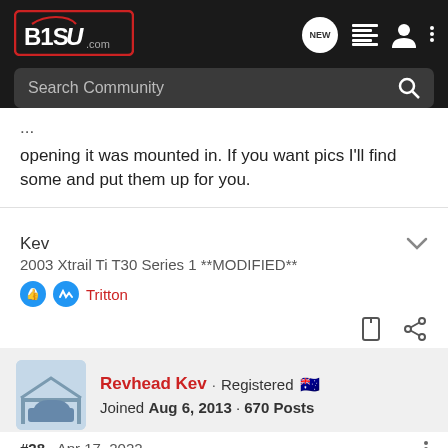B1SU.com - Search Community
opening it was mounted in. If you want pics I'll find some and put them up for you.
Kev
2003 Xtrail Ti T30 Series 1 **MODIFIED**
Tritton
Revhead Kev · Registered 🇦🇺
Joined Aug 6, 2013 · 670 Posts
#28 · Apr 17, 2022